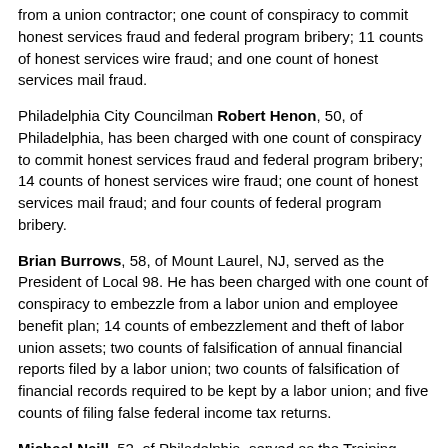from a union contractor; one count of conspiracy to commit honest services fraud and federal program bribery; 11 counts of honest services wire fraud; and one count of honest services mail fraud.
Philadelphia City Councilman Robert Henon, 50, of Philadelphia, has been charged with one count of conspiracy to commit honest services fraud and federal program bribery; 14 counts of honest services wire fraud; one count of honest services mail fraud; and four counts of federal program bribery.
Brian Burrows, 58, of Mount Laurel, NJ, served as the President of Local 98. He has been charged with one count of conspiracy to embezzle from a labor union and employee benefit plan; 14 counts of embezzlement and theft of labor union assets; two counts of falsification of annual financial reports filed by a labor union; two counts of falsification of financial records required to be kept by a labor union; and five counts of filing false federal income tax returns.
Michael Neill, 52, of Philadelphia, served as the Training Director of Local 98's Apprentice Training Fund. He has been charged with one count of conspiracy to embezzle from a